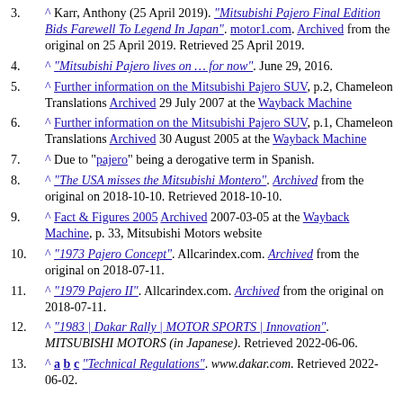3. ^ Karr, Anthony (25 April 2019). "Mitsubishi Pajero Final Edition Bids Farewell To Legend In Japan". motor1.com. Archived from the original on 25 April 2019. Retrieved 25 April 2019.
4. ^ "Mitsubishi Pajero lives on … for now". June 29, 2016.
5. ^ Further information on the Mitsubishi Pajero SUV, p.2, Chameleon Translations Archived 29 July 2007 at the Wayback Machine
6. ^ Further information on the Mitsubishi Pajero SUV, p.1, Chameleon Translations Archived 30 August 2005 at the Wayback Machine
7. ^ Due to "pajero" being a derogative term in Spanish.
8. ^ "The USA misses the Mitsubishi Montero". Archived from the original on 2018-10-10. Retrieved 2018-10-10.
9. ^ Fact & Figures 2005 Archived 2007-03-05 at the Wayback Machine, p. 33, Mitsubishi Motors website
10. ^ "1973 Pajero Concept". Allcarindex.com. Archived from the original on 2018-07-11.
11. ^ "1979 Pajero II". Allcarindex.com. Archived from the original on 2018-07-11.
12. ^ "1983 | Dakar Rally | MOTOR SPORTS | Innovation". MITSUBISHI MOTORS (in Japanese). Retrieved 2022-06-06.
13. ^ a b c "Technical Regulations". www.dakar.com. Retrieved 2022-06-02.